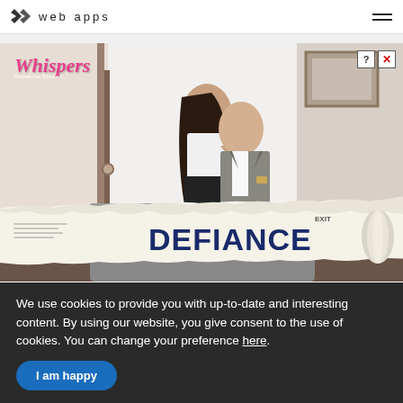web apps
[Figure (photo): Advertisement for 'Whispers Romance Stories' app featuring a couple in an intimate pose with 'DEFIANCE' written on a torn newspaper banner across the bottom of the image. The 'Whispers' logo appears in pink cursive text at the top left. Close and info buttons appear at the top right of the ad.]
We use cookies to provide you with up-to-date and interesting content. By using our website, you give consent to the use of cookies. You can change your preference here.
I am happy